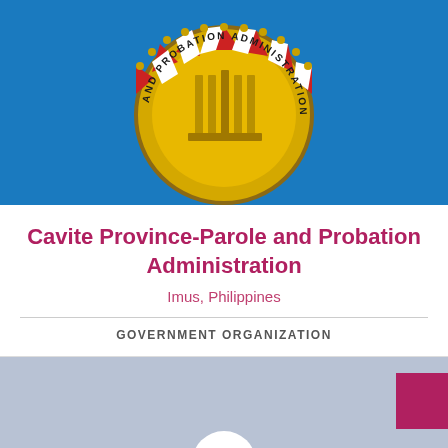[Figure (logo): Parole and Probation Administration seal/logo on blue background — circular emblem with yellow center, red and white decorative border, text 'AND PROBATION ADMINIS...' around arc]
Cavite Province-Parole and Probation Administration
Imus, Philippines
GOVERNMENT ORGANIZATION
[Figure (photo): Default profile avatar placeholder — grey-blue background with white silhouette person icon, crimson/magenta square in top-right corner]
Parkdale Classic 2 Anabu 1-a Imus, Cavite